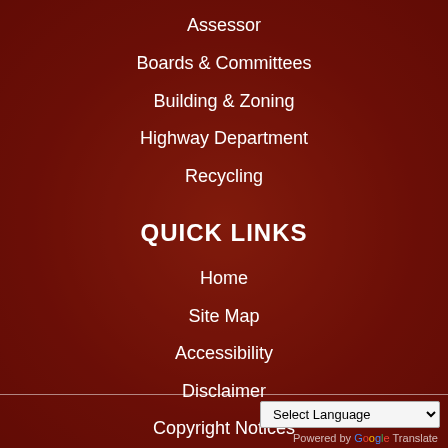Assessor
Boards & Committees
Building & Zoning
Highway Department
Recycling
QUICK LINKS
Home
Site Map
Accessibility
Disclaimer
Copyright Notices
Select Language | Powered by Google Translate